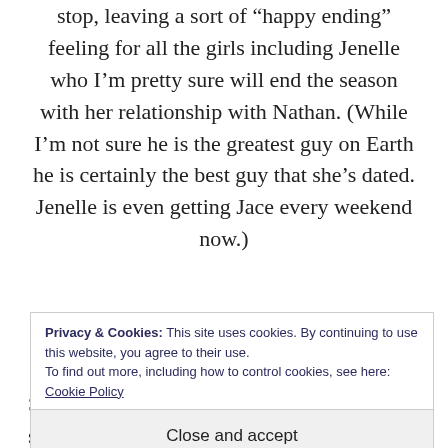stop, leaving a sort of “happy ending” feeling for all the girls including Jenelle who I’m pretty sure will end the season with her relationship with Nathan. (While I’m not sure he is the greatest guy on Earth he is certainly the best guy that she’s dated. Jenelle is even getting Jace every weekend now.)
So fans, now you can look forward to starting
Privacy & Cookies: This site uses cookies. By continuing to use this website, you agree to their use.
To find out more, including how to control cookies, see here: Cookie Policy
Close and accept